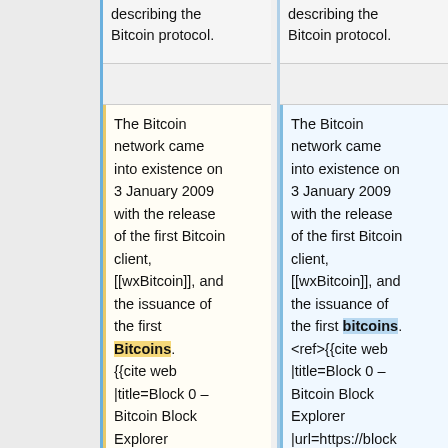describing the Bitcoin protocol.
describing the Bitcoin protocol.
The Bitcoin network came into existence on 3 January 2009 with the release of the first Bitcoin client, [[wxBitcoin]], and the issuance of the first Bitcoins.<ref>{{cite web |title=Block 0 – Bitcoin Block Explorer |url=https://blockexplorer.com/blo ck/0000000001
The Bitcoin network came into existence on 3 January 2009 with the release of the first Bitcoin client, [[wxBitcoin]], and the issuance of the first bitcoins. <ref>{{cite web |title=Block 0 – Bitcoin Block Explorer |url=https://blockexplorer.com/blo ck/000000000019d6689c085ae16